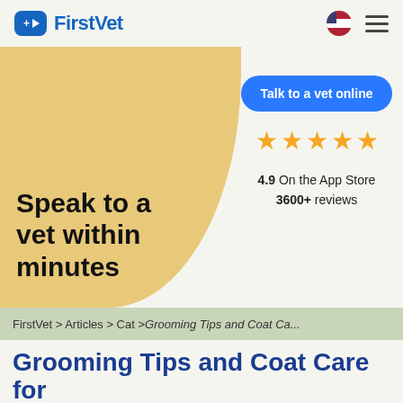FirstVet
[Figure (screenshot): FirstVet website hero section with 'Speak to a vet within minutes' headline, 'Talk to a vet online' CTA button, 5-star rating showing 4.9 on the App Store with 3600+ reviews, and a sandy-beige blob background]
FirstVet > Articles > Cat > Grooming Tips and Coat Ca...
Grooming Tips and Coat Care for